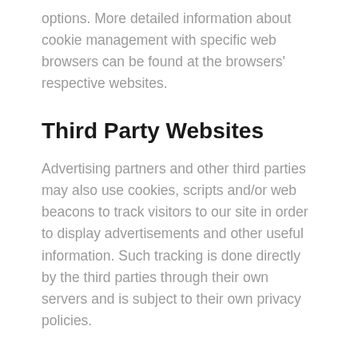options. More detailed information about cookie management with specific web browsers can be found at the browsers' respective websites.
Third Party Websites
Advertising partners and other third parties may also use cookies, scripts and/or web beacons to track visitors to our site in order to display advertisements and other useful information. Such tracking is done directly by the third parties through their own servers and is subject to their own privacy policies.